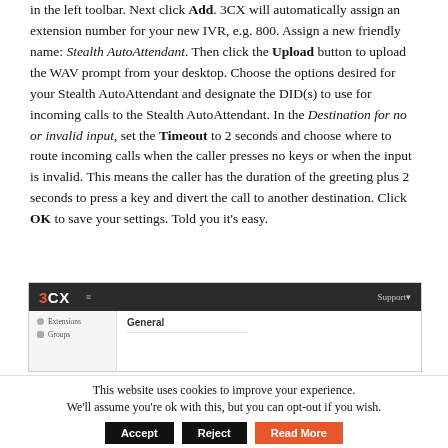in the left toolbar. Next click Add. 3CX will automatically assign an extension number for your new IVR, e.g. 800. Assign a new friendly name: Stealth AutoAttendant. Then click the Upload button to upload the WAV prompt from your desktop. Choose the options desired for your Stealth AutoAttendant and designate the DID(s) to use for incoming calls to the Stealth AutoAttendant. In the Destination for no or invalid input, set the Timeout to 2 seconds and choose where to route incoming calls when the caller presses no keys or when the input is invalid. This means the caller has the duration of the greeting plus 2 seconds to press a key and divert the call to another destination. Click OK to save your settings. Told you it's easy.
[Figure (screenshot): Screenshot of 3CX admin interface showing the navigation sidebar with Extensions and Groups, and the main content area showing General tab]
This website uses cookies to improve your experience. We'll assume you're ok with this, but you can opt-out if you wish. [Accept] [Reject] [Read More]